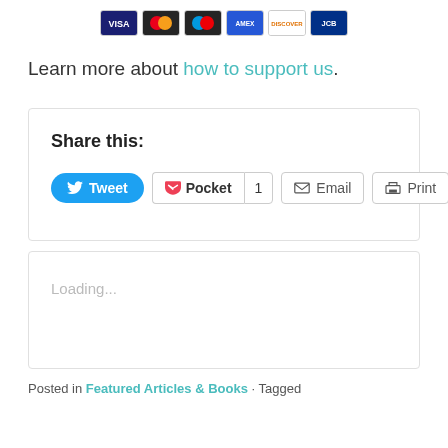[Figure (illustration): Payment card icons: Visa, Mastercard, Maestro, American Express, Discover, JCB]
Learn more about how to support us.
Share this:
[Figure (other): Social share buttons: Tweet (Twitter), Pocket with count 1, Email, Print]
Loading...
Posted in Featured Articles & Books · Tagged